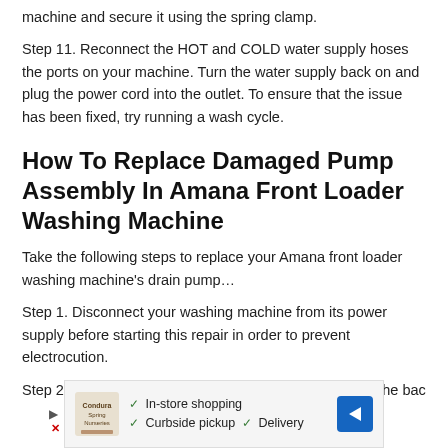machine and secure it using the spring clamp.
Step 11. Reconnect the HOT and COLD water supply hoses the ports on your machine. Turn the water supply back on and plug the power cord into the outlet. To ensure that the issue has been fixed, try running a wash cycle.
How To Replace Damaged Pump Assembly In Amana Front Loader Washing Machine
Take the following steps to replace your Amana front loader washing machine's drain pump…
Step 1. Disconnect your washing machine from its power supply before starting this repair in order to prevent electrocution.
Step 2. Using a 1/4 inch nut driver, take out the bolts at the back of
[Figure (other): Advertisement banner showing a store logo with play/close buttons, checkmarks for In-store shopping, Curbside pickup, Delivery, and a blue direction sign arrow icon.]